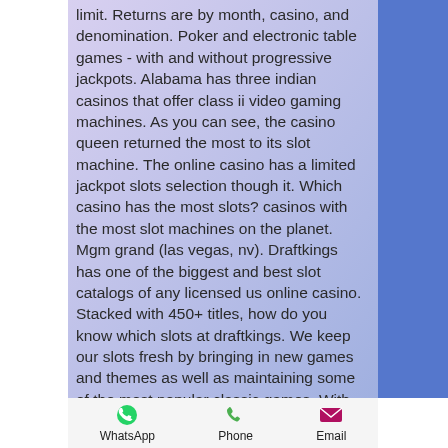limit. Returns are by month, casino, and denomination. Poker and electronic table games - with and without progressive jackpots. Alabama has three indian casinos that offer class ii video gaming machines. As you can see, the casino queen returned the most to its slot machine. The online casino has a limited jackpot slots selection though it. Which casino has the most slots? casinos with the most slot machines on the planet. Mgm grand (las vegas, nv). Draftkings has one of the biggest and best slot catalogs of any licensed us online casino. Stacked with 450+ titles, how do you know which slots at draftkings. We keep our slots fresh by bringing in new games and themes as well as maintaining some of the most popular classic games. With slot games in all. As one of the most popular slot machines, wheel of
WhatsApp  Phone  Email